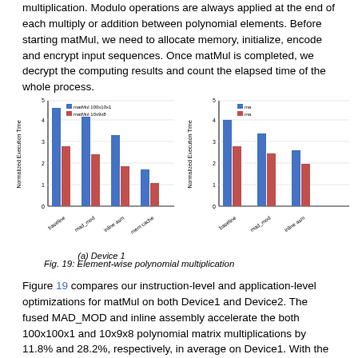multiplication. Modulo operations are always applied at the end of each multiply or addition between polynomial elements. Before starting matMul, we need to allocate memory, initialize, encode and encrypt input sequences. Once matMul is completed, we decrypt the computing results and count the elapsed time of the whole process.
[Figure (grouped-bar-chart): (a) Device 1]
[Figure (grouped-bar-chart): (b) Device 2]
Fig. 19: Element-wise polynomial multiplication
Figure 19 compares our instruction-level and application-level optimizations for matMul on both Device1 and Device2. The fused MAD_MOD and inline assembly accelerate the both 100x100x1 and 10x9x8 polynomial matrix multiplications by 11.8% and 28.2%, respectively, in average on Device1. With the memory cache introduced,